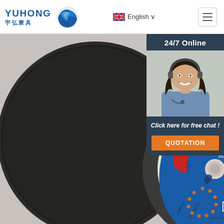[Figure (logo): YUHONG 宇弘磨具 logo with blue wave icon]
English ∨
[Figure (photo): 14-inch abrasive cutting disc (keeness brand) on dark background]
24/7 Online
[Figure (photo): Customer service agent woman with headset smiling]
Click here for free chat !
QUOTATION
[Figure (logo): TOP badge with gear/dot ring icon]